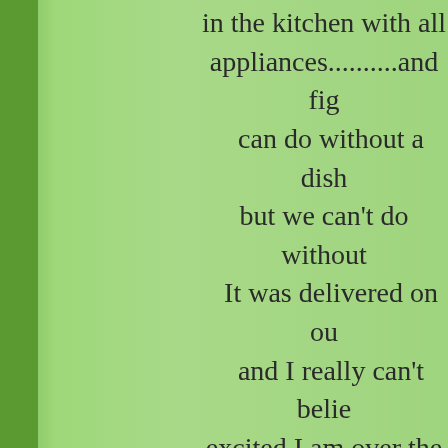in the kitchen with all appliances..........and fig can do without a dish but we can't do without It was delivered on ou and I really can't belie excited I am over the n guess practicality rea come with age!! I am absoutely thrilled as it has the freezer on t and the fridge up top. E is right up there where see, and it means not bending over. Also will to clean.....  I can stand it rather than killing my